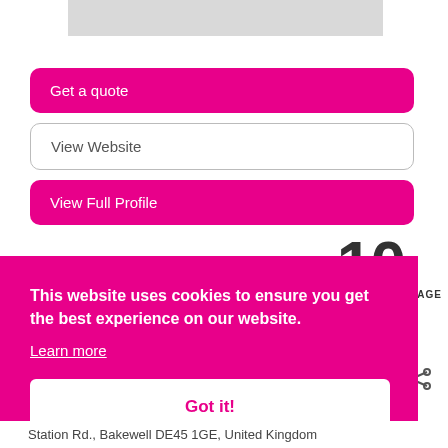[Figure (photo): Grey placeholder image at top of page]
Get a quote
View Website
View Full Profile
This website uses cookies to ensure you get the best experience on our website.
Learn more
Got it!
INGPAGE
Station Rd., Bakewell DE45 1GE, United Kingdom